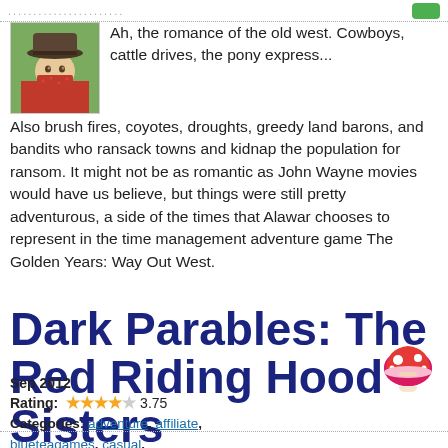...........................
[Figure (photo): Avatar photo of a person wearing a cowboy hat and red bandana mask]
Ah, the romance of the old west. Cowboys, cattle drives, the pony express... Also brush fires, coyotes, droughts, greedy land barons, and bandits who ransack towns and kidnap the population for ransom. It might not be as romantic as John Wayne movies would have us believe, but things were still pretty adventurous, a side of the times that Alawar chooses to represent in the time management adventure game The Golden Years: Way Out West.
Dark Parables: The Red Riding Hood Sisters
Sep 2012
Rating: 3.75
Categories: adventure, affiliate, blueteagames, casual, collectorsedition, darkparables, demo, download, fantasy, game, hiddenobject,
[Figure (illustration): Pink mushroom emoji/icon]